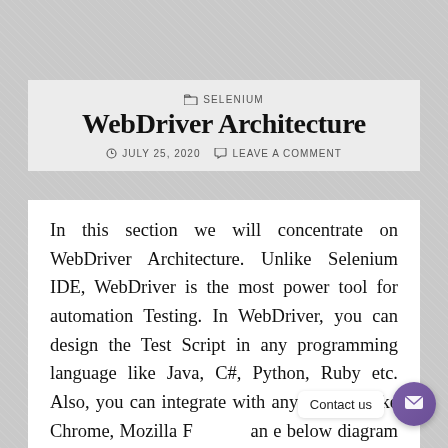SELENIUM
WebDriver Architecture
JULY 25, 2020   LEAVE A COMMENT
In this section we will concentrate on WebDriver Architecture. Unlike Selenium IDE, WebDriver is the most power tool for automation Testing. In WebDriver, you can design the Test Script in any programming language like Java, C#, Python, Ruby etc. Also, you can integrate with any browser like Chrome, Mozilla F... and e below diagram to understand the WebDriver